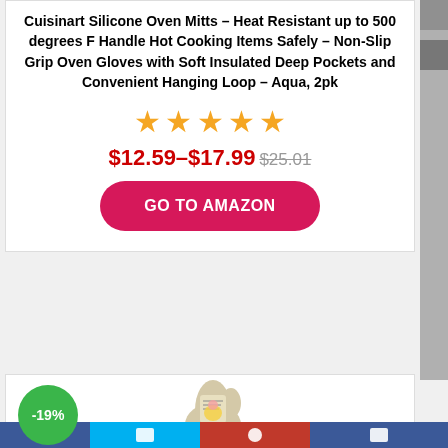Cuisinart Silicone Oven Mitts – Heat Resistant up to 500 degrees F Handle Hot Cooking Items Safely – Non-Slip Grip Oven Gloves with Soft Insulated Deep Pockets and Convenient Hanging Loop – Aqua, 2pk
[Figure (other): Five gold/orange star rating icons]
$12.59–$17.99 $25.01
GO TO AMAZON
[Figure (photo): Oven mitt product image with illustrated retro woman design; green discount badge showing -19%]